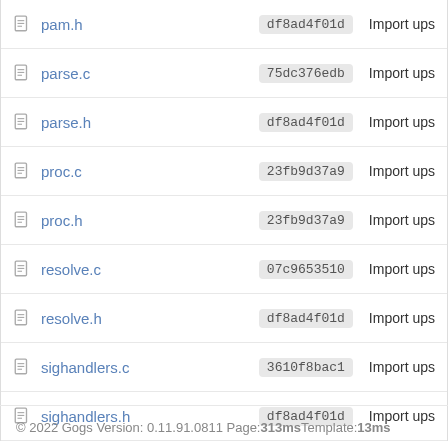| File | Commit | Message |
| --- | --- | --- |
| pam.h | df8ad4f01d | Import ups |
| parse.c | 75dc376edb | Import ups |
| parse.h | df8ad4f01d | Import ups |
| proc.c | 23fb9d37a9 | Import ups |
| proc.h | 23fb9d37a9 | Import ups |
| resolve.c | 07c9653510 | Import ups |
| resolve.h | df8ad4f01d | Import ups |
| sighandlers.c | 3610f8bac1 | Import ups |
| sighandlers.h | df8ad4f01d | Import ups |
© 2022 Gogs Version: 0.11.91.0811 Page: 313ms Template: 13ms